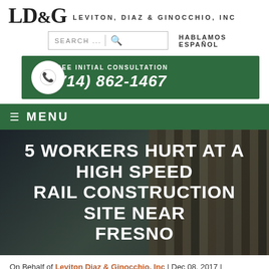LD&G LEVITON, DIAZ & GINOCCHIO, INC
SEARCH ... | HABLAMOS ESPAÑOL
FREE INITIAL CONSULTATION (714) 862-1467
≡ MENU
5 WORKERS HURT AT A HIGH SPEED RAIL CONSTRUCTION SITE NEAR FRESNO
On Behalf of Leviton Diaz & Ginocchio, Inc | Dec 08, 2017 |